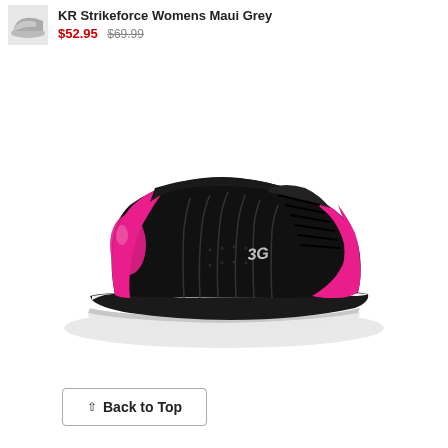KR Strikeforce Womens Maui Grey $52.95 $69.99
[Figure (photo): Black and pink 3G womens bowling shoe, lace-up style, with hot pink accent panels on toe and heel, black leather upper with vertical stitching detail, white sole, 3G brand logo on side.]
↑ Back to Top